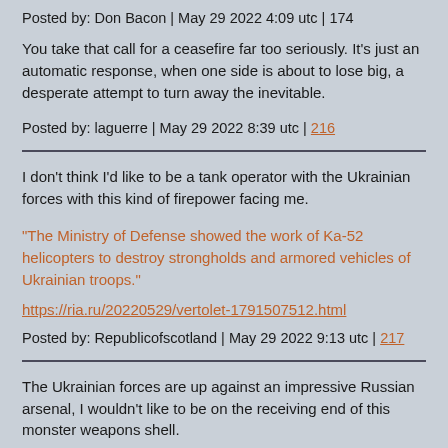Posted by: Don Bacon | May 29 2022 4:09 utc | 174
You take that call for a ceasefire far too seriously. It's just an automatic response, when one side is about to lose big, a desperate attempt to turn away the inevitable.
Posted by: laguerre | May 29 2022 8:39 utc | 216
I don't think I'd like to be a tank operator with the Ukrainian forces with this kind of firepower facing me.
"The Ministry of Defense showed the work of Ka-52 helicopters to destroy strongholds and armored vehicles of Ukrainian troops."
https://ria.ru/20220529/vertolet-1791507512.html
Posted by: Republicofscotland | May 29 2022 9:13 utc | 217
The Ukrainian forces are up against an impressive Russian arsenal, I wouldn't like to be on the receiving end of this monster weapons shell.
"The 2S7M Malka is a modernized version of the 2S7 Pion gun, created in the 1980s and still considered one of the